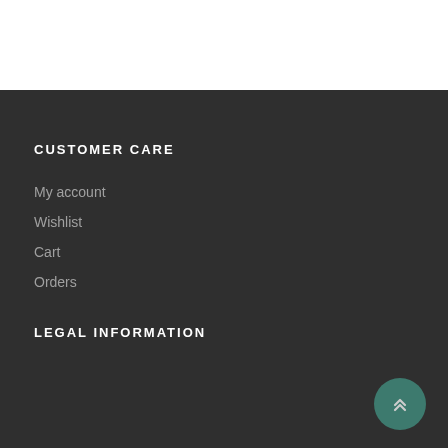CUSTOMER CARE
My account
Wishlist
Cart
Orders
LEGAL INFORMATION